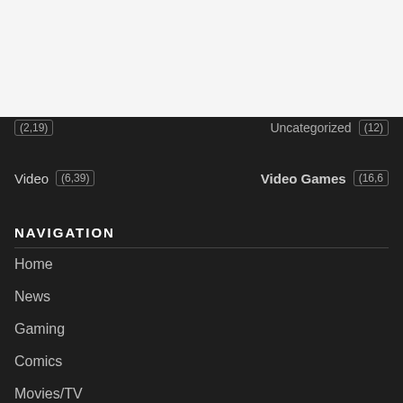[Figure (logo): DFTG logo - red square with letter D and forward arrows, text DFTG in red below]
Hamburger menu button
(2,19) Uncategorized (12)
Video (6,39) Video Games (16,6)
NAVIGATION
Home
News
Gaming
Comics
Movies/TV
Reviews
Video
Opinion